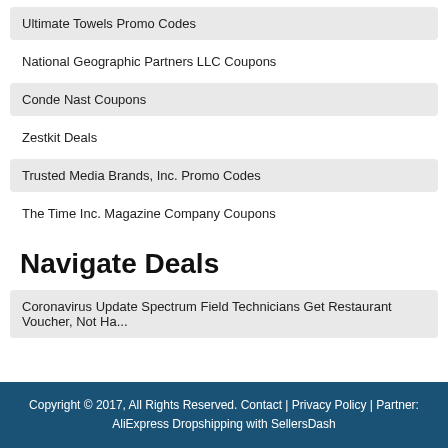Ultimate Towels Promo Codes
National Geographic Partners LLC Coupons
Conde Nast Coupons
Zestkit Deals
Trusted Media Brands, Inc. Promo Codes
The Time Inc. Magazine Company Coupons
Navigate Deals
Coronavirus Update Spectrum Field Technicians Get Restaurant Voucher, Not Ha...
Copyright © 2017, All Rights Reserved. Contact | Privacy Policy | Partner: AliExpress Dropshipping with SellersDash